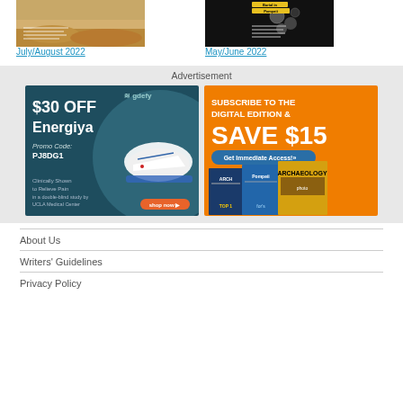[Figure (photo): Magazine cover for July/August 2022 issue, archaeological/desert scene]
July/August 2022
[Figure (photo): Magazine cover for May/June 2022 issue, Burial in Pompeii / dark background with artifacts]
May/June 2022
Advertisement
[Figure (photo): Gdefy shoe advertisement: $30 OFF Energiya, Promo Code PJ8DG1, Clinically Shown to Relieve Pain in a double-blind study by UCLA Medical Center]
[Figure (photo): Archaeology magazine subscription ad: SUBSCRIBE TO THE DIGITAL EDITION & SAVE $15, Get Immediate Access]
About Us
Writers' Guidelines
Privacy Policy